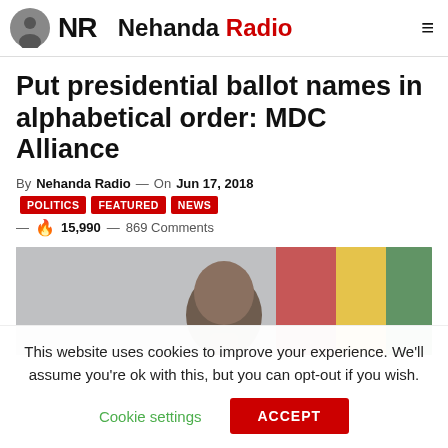Nehanda Radio
Put presidential ballot names in alphabetical order: MDC Alliance
By Nehanda Radio — On Jun 17, 2018 POLITICS FEATURED NEWS — 🔥 15,990 — 869 Comments
[Figure (photo): Photo of a bald person with Zimbabwe flag in the background]
This website uses cookies to improve your experience. We'll assume you're ok with this, but you can opt-out if you wish.
Cookie settings   ACCEPT